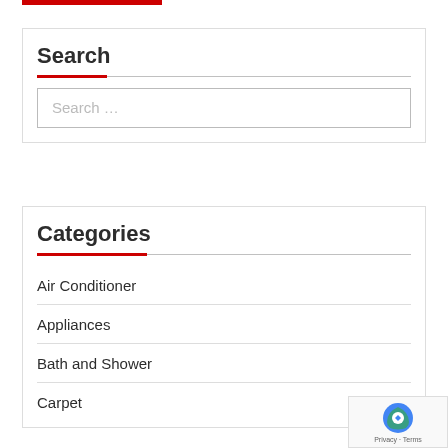Search
Search …
Categories
Air Conditioner
Appliances
Bath and Shower
Carpet